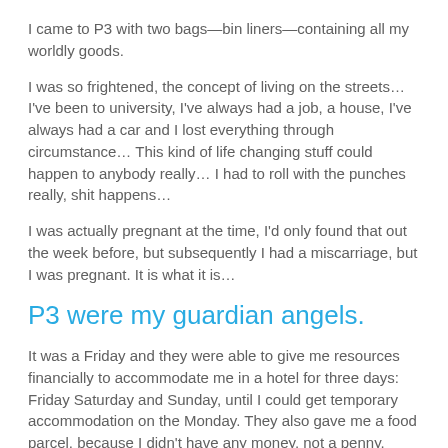I came to P3 with two bags—bin liners—containing all my worldly goods.
I was so frightened, the concept of living on the streets… I've been to university, I've always had a job, a house, I've always had a car and I lost everything through circumstance… This kind of life changing stuff could happen to anybody really… I had to roll with the punches really, shit happens…
I was actually pregnant at the time, I'd only found that out the week before, but subsequently I had a miscarriage, but I was pregnant. It is what it is…
P3 were my guardian angels.
It was a Friday and they were able to give me resources financially to accommodate me in a hotel for three days: Friday Saturday and Sunday, until I could get temporary accommodation on the Monday. They also gave me a food parcel, because I didn't have any money, not a penny.